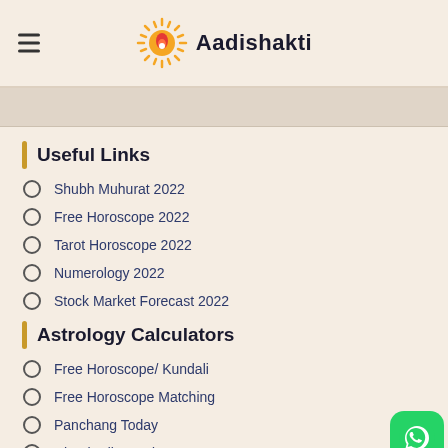Aadishakti
Useful Links
Shubh Muhurat 2022
Free Horoscope 2022
Tarot Horoscope 2022
Numerology 2022
Stock Market Forecast 2022
Astrology Calculators
Free Horoscope/ Kundali
Free Horoscope Matching
Panchang Today
Choghadiya Today